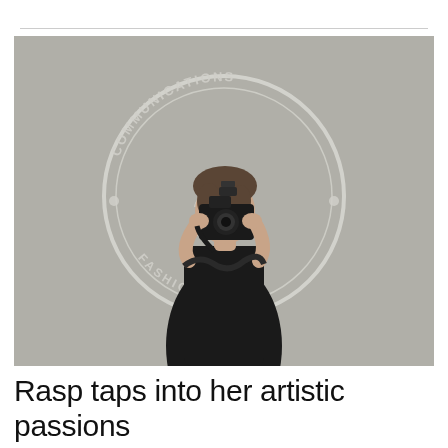[Figure (photo): A young woman in a black dress holding a camera up to her face, photographing the viewer. She stands in front of a light grey backdrop with a circular logo reading 'COMMUNICATIONS FASHION SHOW' with the number 28 in the center.]
Rasp taps into her artistic passions